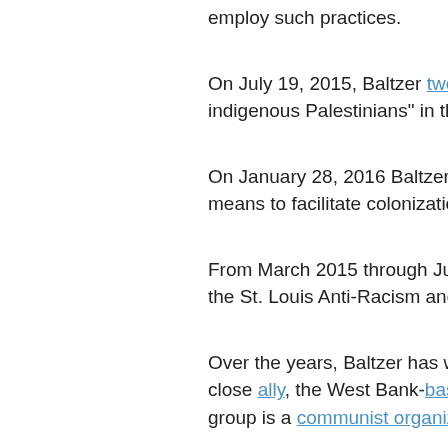employ such practices.
On July 19, 2015, Baltzer tweeted indigenous Palestinians" in the
On January 28, 2016 Baltzer tw means to facilitate colonization
From March 2015 through June the St. Louis Anti-Racism and O
Over the years, Baltzer has wor close ally, the West Bank-based group is a communist organizat